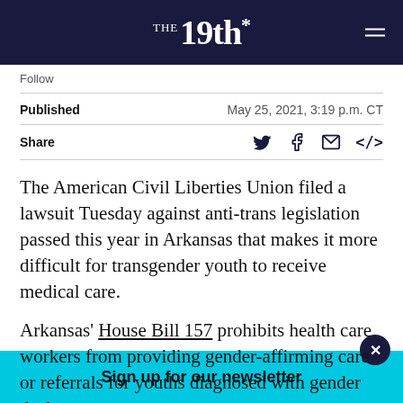The 19th*
Follow
Published   May 25, 2021, 3:19 p.m. CT
Share
The American Civil Liberties Union filed a lawsuit Tuesday against anti-trans legislation passed this year in Arkansas that makes it more difficult for transgender youth to receive medical care.
Arkansas’ House Bill 157 prohibits health care workers from providing gender-affirming care or referrals for youths diagnosed with gender dysphoria
Sign up for our newsletter